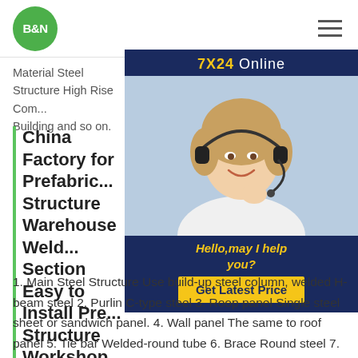B&N (logo)
Material Steel Structure High Rise Com... Building and so on.
China Factory for Prefabric... Structure Warehouse Weld... Section Easy to Install Pre... Structure Workshop
[Figure (photo): Customer service representative with headset, smiling. Ad panel with '7X24 Online' header, photo, 'Hello, may I help you?' text, and 'Get Latest Price' button on dark navy background.]
1. Main Steel Structure Use build-up steel column, welded H-beam steel 2. Purlin C-type steel 3. Roop panel Single steel sheet or sandwich panel. 4. Wall panel The same to roof panel 5. Tie bar Welded-round tube 6. Brace Round steel 7. Column brace and lateral brace Angle steel 8. Crane 3T 20T 9.